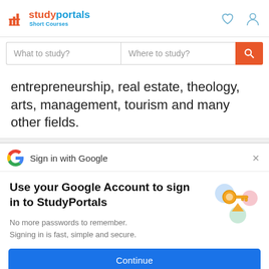studyportals Short Courses
[Figure (screenshot): Search bar with 'What to study?' and 'Where to study?' fields and orange search button]
entrepreneurship, real estate, theology, arts, management, tourism and many other fields.
[Figure (screenshot): Sign in with Google dialog with Google logo and close button, then 'Use your Google Account to sign in to StudyPortals' heading, subtitle 'No more passwords to remember. Signing in is fast, simple and secure.', illustration of a key with colorful circles, and a blue Continue button]